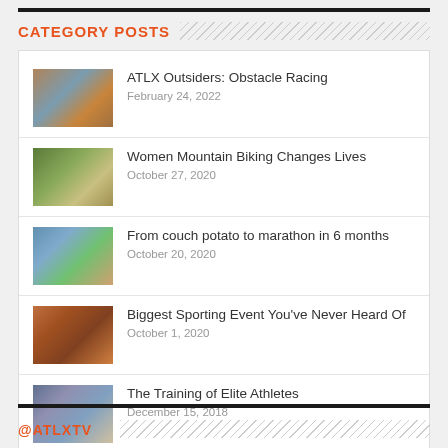CATEGORY POSTS
ATLX Outsiders: Obstacle Racing
February 24, 2022
Women Mountain Biking Changes Lives
October 27, 2020
From couch potato to marathon in 6 months
October 20, 2020
Biggest Sporting Event You've Never Heard Of
October 1, 2020
The Training of Elite Athletes
December 15, 2018
@ATLXTV